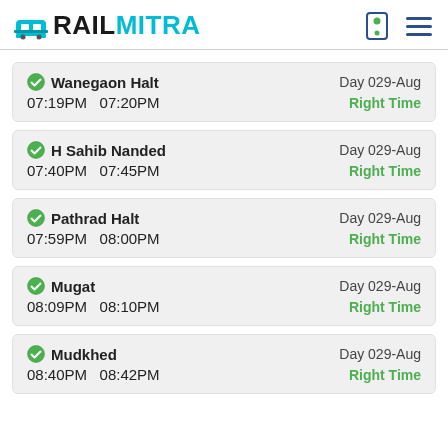RAILMITRA
Wanegaon Halt | Day 029-Aug | 07:19PM  07:20PM | Right Time
H Sahib Nanded | Day 029-Aug | 07:40PM  07:45PM | Right Time
Pathrad Halt | Day 029-Aug | 07:59PM  08:00PM | Right Time
Mugat | Day 029-Aug | 08:09PM  08:10PM | Right Time
Mudkhed | Day 029-Aug | 08:40PM  08:42PM | Right Time